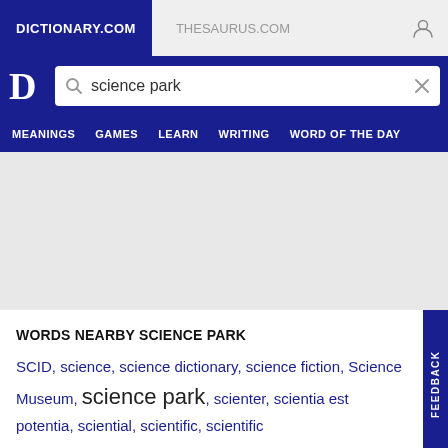DICTIONARY.COM | THESAURUS.COM
[Figure (screenshot): Dictionary.com logo and search bar with 'science park' query]
MEANINGS  GAMES  LEARN  WRITING  WORD OF THE DAY
WORDS NEARBY SCIENCE PARK
SCID, science, science dictionary, science fiction, Science Museum, science park, scienter, scientia est potentia, sciential, scientific, scientific